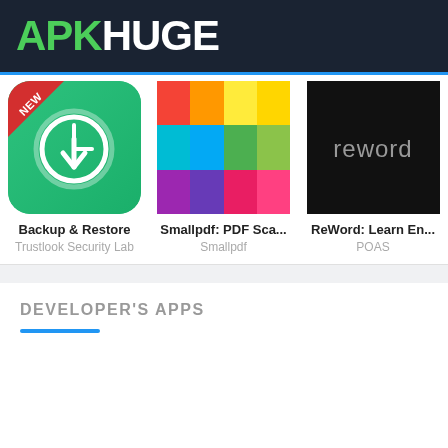APKHUGE
[Figure (screenshot): Three app cards shown in a row: Backup & Restore by Trustlook Security Lab (with NEW badge), Smallpdf: PDF Sca... by Smallpdf (colorful grid icon), ReWord: Learn En... by POAS (dark background with 'reword' text)]
Backup & Restore
Trustlook Security Lab
Smallpdf: PDF Sca...
Smallpdf
ReWord: Learn En...
POAS
DEVELOPER'S APPS